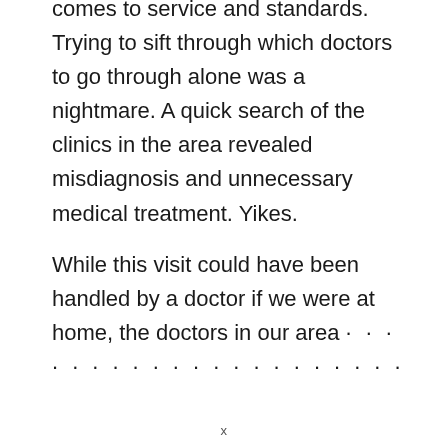healthcare in Asia varies when it comes to service and standards. Trying to sift through which doctors to go through alone was a nightmare. A quick search of the clinics in the area revealed misdiagnosis and unnecessary medical treatment. Yikes.
While this visit could have been handled by a doctor if we were at home, the doctors in our area ...